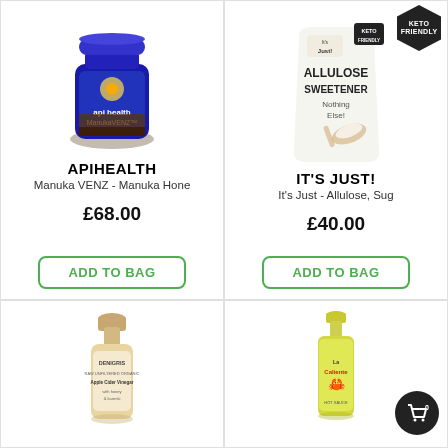[Figure (photo): Apihealth ManukaVENZ honey jar with blue label]
APIHEALTH
Manuka VENZ - Manuka Hone
£68.00
ADD TO BAG
[Figure (photo): It's Just! Allulose Sweetener white bag with keto friendly badge]
IT'S JUST!
It's Just - Allulose, Sug
£40.00
ADD TO BAG
[Figure (photo): Denigris Apple Cider Vinegar bottle]
[Figure (photo): La Caliente hot sauce bottle in yellow/green]